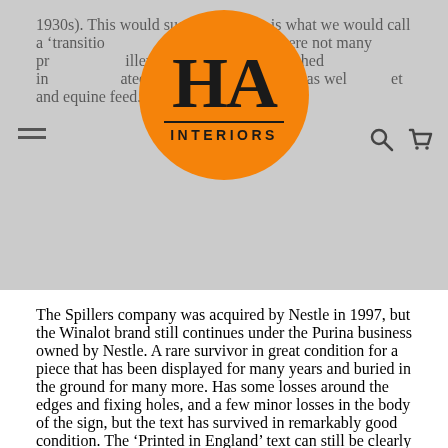HA Interiors logo overlay navigation header
1930s). This would suggest that this is what we would call a 'transition' and as a result there were not many professional millers company was established in and operated flour mills and bakeries as well as pet and equine feed. The Spillers company was acquired by Nestle in 1997, but the Winalot brand still continues under the Purina business owned by Nestle. A rare survivor in great condition for a piece that has been displayed for many years and buried in the ground for many more. Has some losses around the edges and fixing holes, and a few minor losses in the body of the sign, but the text has survived in remarkably good condition. The 'Printed in England' text can still be clearly seen at the bottom of the sign.